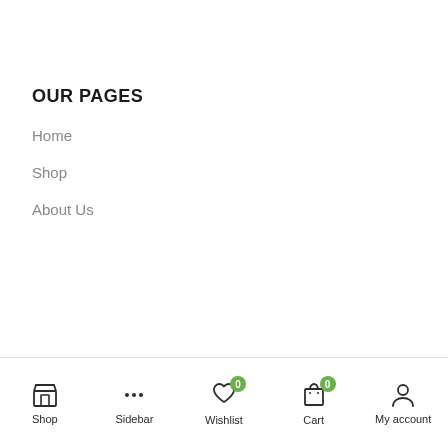OUR PAGES
Home
Shop
About Us
Shop | Sidebar | Wishlist 0 | Cart 0 | My account